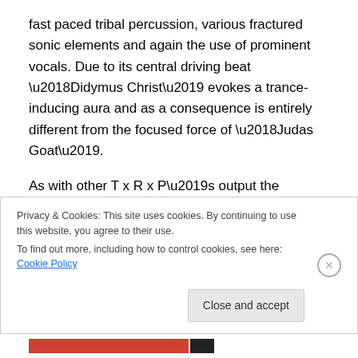fast paced tribal percussion, various fractured sonic elements and again the use of prominent vocals.  Due to its central driving beat ‘Didymus Christ’ evokes a trance-inducing aura and as a consequence is entirely different from the focused force of ‘Judas Goat’.
As with other T x R x P’s output the productions is murky and ash black, which suits the material perfectly.  White vinyl and a black and white, double sided fold out cover rounds out this collectable release, issued in and edition of a mere 141 copies (141 = I-4-I = eye for eye?).
Privacy & Cookies: This site uses cookies. By continuing to use this website, you agree to their use.
To find out more, including how to control cookies, see here: Cookie Policy